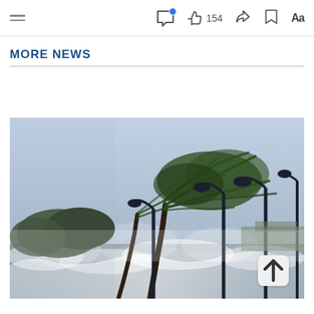Menu | Comment | Like 154 | Share | Bookmark | Aa
MORE NEWS
[Figure (photo): Storm scene with palm trees bending violently in hurricane-force winds, street lamps, and large waves crashing over a waterfront promenade under a grey sky.]